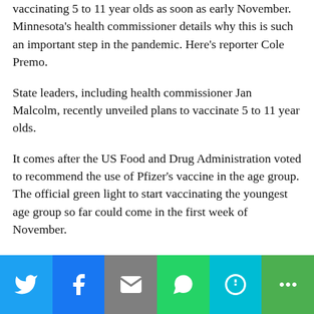vaccinating 5 to 11 year olds as soon as early November. Minnesota's health commissioner details why this is such an important step in the pandemic. Here's reporter Cole Premo.
State leaders, including health commissioner Jan Malcolm, recently unveiled plans to vaccinate 5 to 11 year olds.
It comes after the US Food and Drug Administration voted to recommend the use of Pfizer's vaccine in the age group. The official green light to start vaccinating the youngest age group so far could come in the first week of November.
In order to prepare for the new vaccination push, state officials say they built a network of 1,100
[Figure (other): Social share bar with Twitter, Facebook, Email, WhatsApp, SMS, and More buttons]